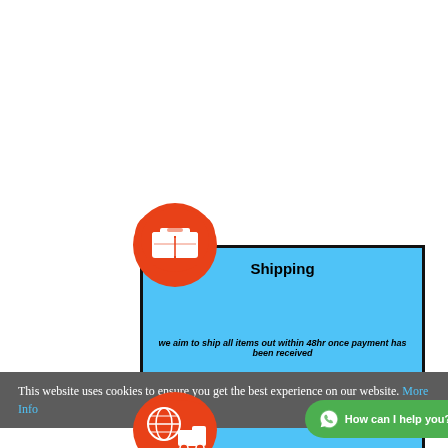[Figure (logo): Orange rounded map pin icon with white package/box icon inside]
Shipping
we aim to ship all items out within 48hr once payment has been received
all items are trackable ,tracking number cab be supplied on request
This website uses cookies to ensure you get the best experience on our website. More Info
[Figure (logo): Orange rounded icon with globe and delivery truck]
How can I help you?